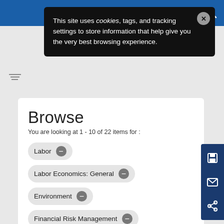Site navigation header with menu and search icons
This site uses cookies, tags, and tracking settings to store information that help give you the very best browsing experience.
Browse
You are looking at 1 - 10 of 22 items for :
Labor
Labor Economics: General
Environment
Financial Risk Management